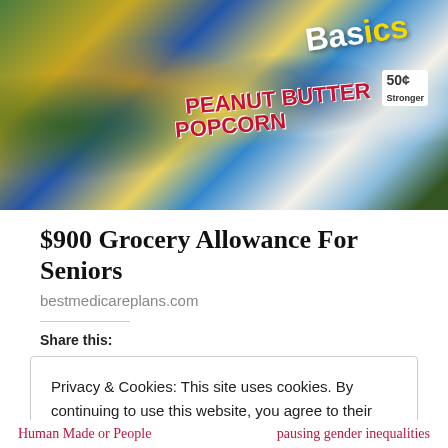[Figure (photo): Photo of grocery store items including Emerald 100 Calorie Packs, cheese crackers, Peanut Butter Popcorn, Basics brand paper goods, and other packaged food products on a table.]
$900 Grocery Allowance For Seniors
bestmedicareplans.com
Share this:
Privacy & Cookies: This site uses cookies. By continuing to use this website, you agree to their use. To find out more, including how to control cookies, see here: Cookie Policy
Close and accept
Human Made or People
pausing gender inequalities